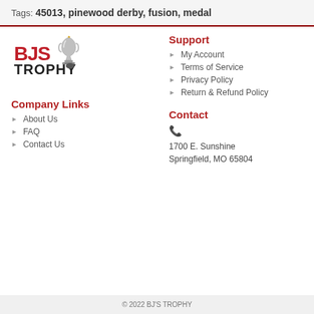Tags: 45013, pinewood derby, fusion, medal
[Figure (logo): BJS Trophy logo with trophy cup icon]
Support
My Account
Terms of Service
Privacy Policy
Return & Refund Policy
Company Links
About Us
FAQ
Contact Us
Contact
1700 E. Sunshine
Springfield, MO 65804
© 2022 BJ'S TROPHY